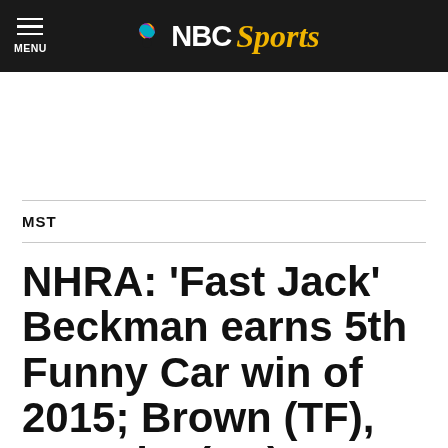NBC Sports
MST
NHRA: ‘Fast Jack’ Beckman earns 5th Funny Car win of 2015; Brown (TF), McGaha (PS), Krawiec (PSM)